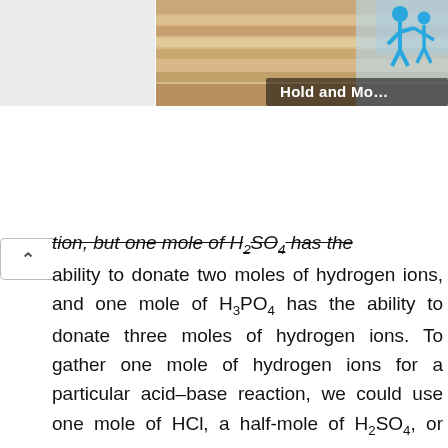[Figure (illustration): Top-right banner with a sandy/blue gradient background and two blue stick-figure people icons. A dark label reads 'Hold and Mov' (text cut off at edge).]
tion, but one mole of H2SO4 has the ability to donate two moles of hydrogen ions, and one mole of H3PO4 has the ability to donate three moles of hydrogen ions. To gather one mole of hydrogen ions for a particular acid–base reaction, we could use one mole of HCl, a half-mole of H2SO4, or one-third of a mole of H3PO4. Or, consider the difference between Na and Mg: One mole of sodium has the ability to donate one mole of electrons, while one mole of magnesium has the ability to donate two moles of electrons. This provides context for the concept of